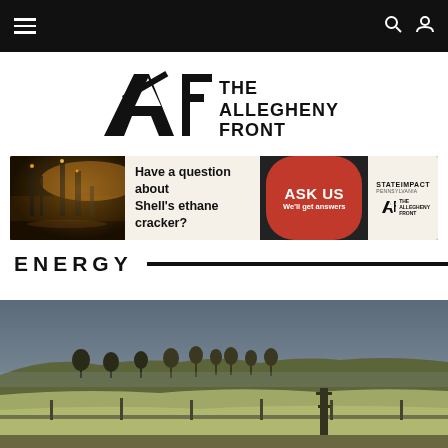Navigation bar with hamburger menu, search icon, and user icon
[Figure (logo): The Allegheny Front logo — stylized A and F letterforms with the text THE ALLEGHENY FRONT]
[Figure (infographic): Advertisement banner: industrial photo on left, text 'Have a question about Shell's ethane cracker?', red bubble with 'ASK US We'll get answers', StateImpact Pennsylvania and Allegheny Front logos on right]
ENERGY
[Figure (photo): Aerial or elevated landscape photo showing rural countryside with bare winter trees, fields, and what appears to be pipeline infrastructure in the foreground under an overcast sky]